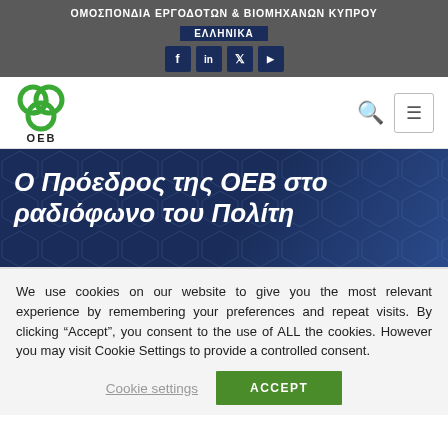ΟΜΟΣΠΟΝΔΙΑ ΕΡΓΟΔΟΤΩΝ & ΒΙΟΜΗΧΑΝΩΝ ΚΥΠΡΟΥ
[Figure (logo): OEB (Employers & Industrialists Federation of Cyprus) green interlocking rings logo with text OEB below]
Ο Πρόεδρος της ΟΕΒ στο ραδιόφωνο του Πολίτη
We use cookies on our website to give you the most relevant experience by remembering your preferences and repeat visits. By clicking "Accept", you consent to the use of ALL the cookies. However you may visit Cookie Settings to provide a controlled consent.